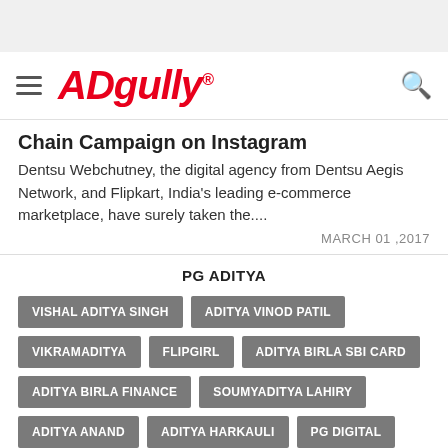Adgully
Chain Campaign on Instagram
Dentsu Webchutney, the digital agency from Dentsu Aegis Network, and Flipkart, India's leading e-commerce marketplace, have surely taken the....
MARCH 01 ,2017
PG ADITYA
VISHAL ADITYA SINGH
ADITYA VINOD PATIL
VIKRAMADITYA
FLIPGIRL
ADITYA BIRLA SBI CARD
ADITYA BIRLA FINANCE
SOUMYADITYA LAHIRY
ADITYA ANAND
ADITYA HARKAULI
PG DIGITAL
PG ADITYA